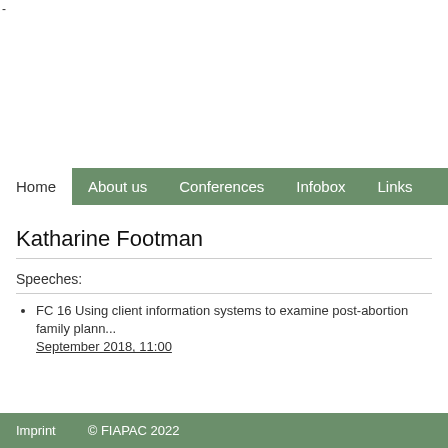-
Home   About us   Conferences   Infobox   Links
Katharine Footman
Speeches:
FC 16 Using client information systems to examine post-abortion family plann... September 2018, 11:00
Imprint   © FIAPAC 2022